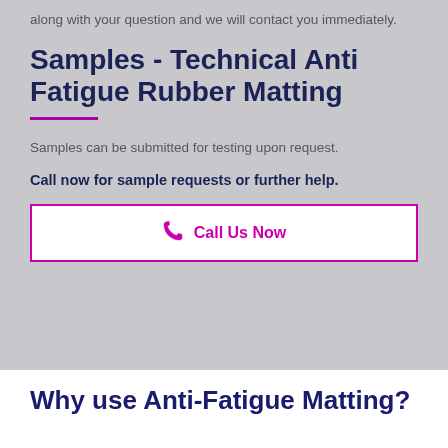along with your question and we will contact you immediately.
Samples - Technical Anti Fatigue Rubber Matting
Samples can be submitted for testing upon request.
Call now for sample requests or further help.
[Figure (other): Button with phone icon and text 'Call Us Now' inside a magenta border box]
Why use Anti-Fatigue Matting?